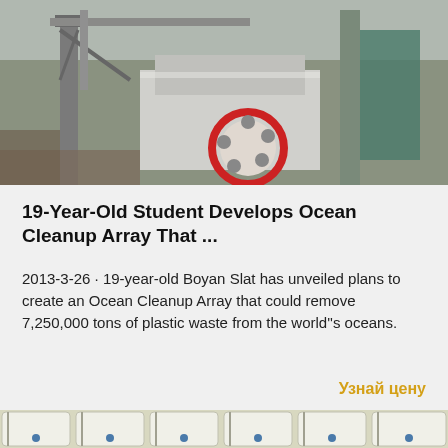[Figure (photo): Industrial machinery or ship equipment with large mechanical components, cranes, and a red circular wheel/gear. Grey and industrial setting.]
19-Year-Old Student Develops Ocean Cleanup Array That ...
2013-3-26 · 19-year-old Boyan Slat has unveiled plans to create an Ocean Cleanup Array that could remove 7,250,000 tons of plastic waste from the world"s oceans.
Узнай цену
[Figure (photo): White industrial bags or sacks stacked in rows with blue dots/labels on them, on a grey surface.]